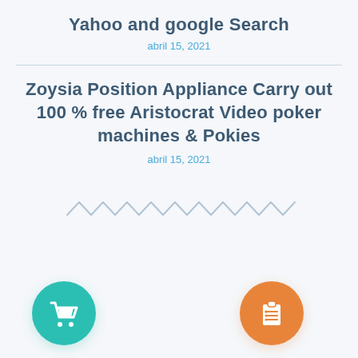Yahoo and google Search
abril 15, 2021
Zoysia Position Appliance Carry out 100 % free Aristocrat Video poker machines & Pokies
abril 15, 2021
[Figure (illustration): Decorative zigzag/wave line in light blue-gray color]
[Figure (illustration): Teal circle icon with white shopping cart]
[Figure (illustration): Orange circle icon with white clipboard/list]